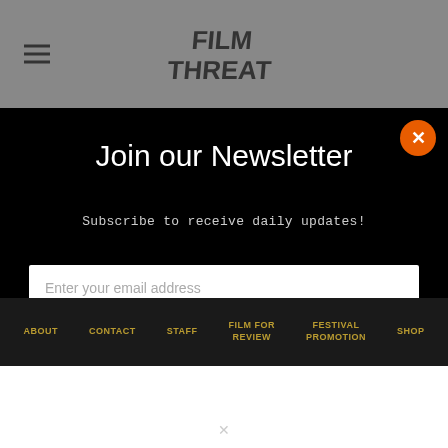Film Threat
Join our Newsletter
Subscribe to receive daily updates!
Enter your email address
SIGN UP
ABOUT  CONTACT  STAFF  FILM FOR REVIEW  FESTIVAL PROMOTION  SHOP